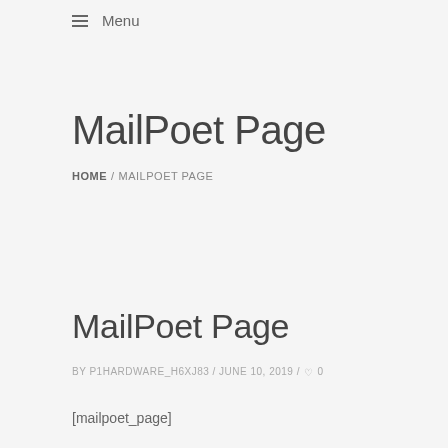≡ Menu
MailPoet Page
HOME / MAILPOET PAGE
MailPoet Page
BY P1HARDWARE_H6XJ83 / JUNE 10, 2019 / ♡ 0
[mailpoet_page]